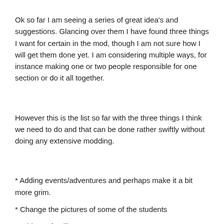Ok so far I am seeing a series of great idea's and suggestions. Glancing over them I have found three things I want for certain in the mod, though I am not sure how I will get them done yet. I am considering multiple ways, for instance making one or two people responsible for one section or do it all together.
However this is the list so far with the three things I think we need to do and that can be done rather swiftly without doing any extensive modding.
* Adding events/adventures and perhaps make it a bit more grim.
* Change the pictures of some of the students
* Add new familiars.